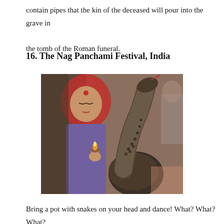contain pipes that the kin of the deceased will pour into the grave in the tomb of the Roman funeral.
16. The Nag Panchami Festival, India
[Figure (photo): A woman in a red headscarf and purple top holds a small flame (diya) in her hand while a large cobra rears up in the foreground during the Nag Panchami festival in India.]
Bring a pot with snakes on your head and dance! What? What? What?